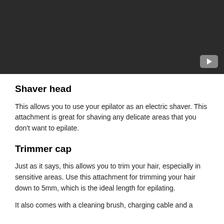[Figure (screenshot): Dark video player placeholder with a YouTube play button icon in the bottom-right corner]
Shaver head
This allows you to use your epilator as an electric shaver. This attachment is great for shaving any delicate areas that you don't want to epilate.
Trimmer cap
Just as it says, this allows you to trim your hair, especially in sensitive areas. Use this attachment for trimming your hair down to 5mm, which is the ideal length for epilating.
It also comes with a cleaning brush, charging cable and a